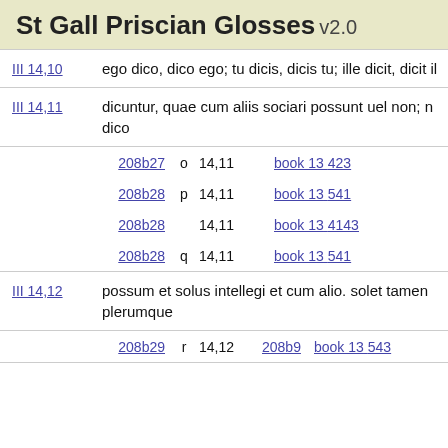St Gall Priscian Glosses v2.0
III 14,10   ego dico, dico ego; tu dicis, dicis tu; ille dicit, dicit il…
III 14,11   dicuntur, quae cum aliis sociari possunt uel non; n…dico
| ref | letter | num | book | entry |
| --- | --- | --- | --- | --- |
| 208b27 | o | 14,11 | book 13 | 423 |
| 208b28 | p | 14,11 | book 13 | 541 |
| 208b28 |  | 14,11 | book 13 | 4143 |
| 208b28 | q | 14,11 | book 13 | 541 |
III 14,12   possum et solus intellegi et cum alio. solet tamen…plerumque
| ref | letter | num | extra | book | entry |
| --- | --- | --- | --- | --- | --- |
| 208b29 | r | 14,12 | 208b9 | book 13 | 543 |